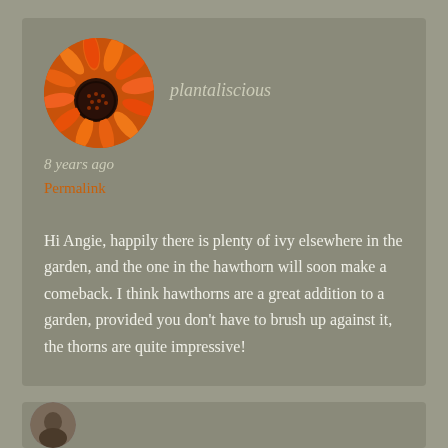[Figure (photo): Circular avatar photo of an orange flower (gerbera daisy) close-up]
plantaliscious
8 years ago
Permalink
Hi Angie, happily there is plenty of ivy elsewhere in the garden, and the one in the hawthorn will soon make a comeback. I think hawthorns are a great addition to a garden, provided you don't have to brush up against it, the thorns are quite impressive!
[Figure (photo): Partial view of a second commenter's avatar at the bottom of the page]